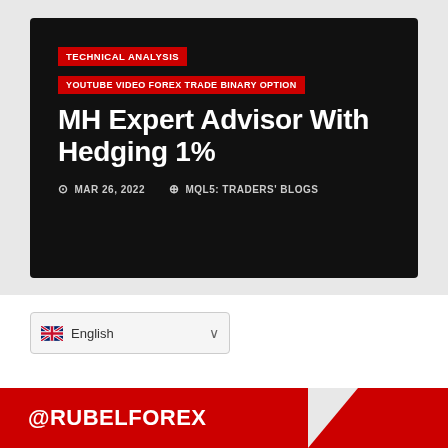[Figure (screenshot): Dark-background article card with red category tags, title 'MH Expert Advisor With Hedging 1%', date MAR 26 2022, and source MQL5: TRADERS' BLOGS]
TECHNICAL ANALYSIS
YOUTUBE VIDEO FOREX TRADE BINARY OPTION
MH Expert Advisor With Hedging 1%
MAR 26, 2022   MQL5: TRADERS' BLOGS
English
@RUBELFOREX